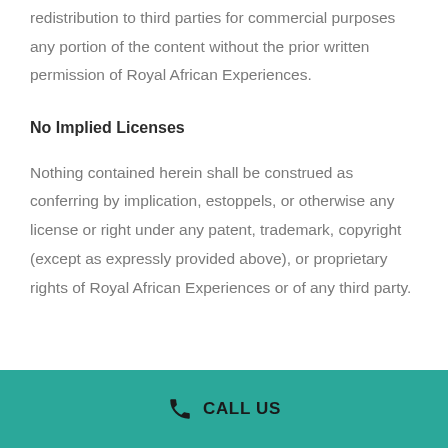redistribution to third parties for commercial purposes any portion of the content without the prior written permission of Royal African Experiences.
No Implied Licenses
Nothing contained herein shall be construed as conferring by implication, estoppels, or otherwise any license or right under any patent, trademark, copyright (except as expressly provided above), or proprietary rights of Royal African Experiences or of any third party.
CALL US